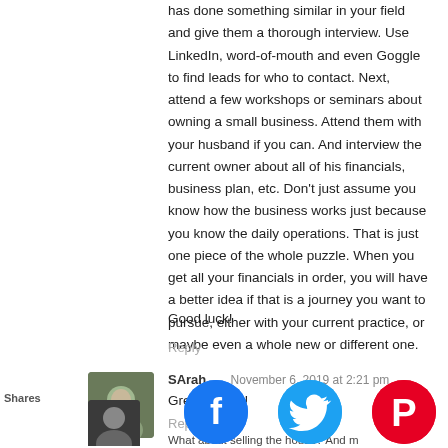has done something similar in your field and give them a thorough interview. Use LinkedIn, word-of-mouth and even Goggle to find leads for who to contact. Next, attend a few workshops or seminars about owning a small business. Attend them with your husband if you can. And interview the current owner about all of his financials, business plan, etc. Don't just assume you know how the business works just because you know the daily operations. That is just one piece of the whole puzzle. When you get all your financials in order, you will have a better idea if that is a journey you want to pursue, either with your current practice, or maybe even a whole new or different one.
Good luck!
Reply
SArah  ◎  November 6, 2019 at 2:21 pm
Great advice!
Reply
What about selling the house? And move, depending o...